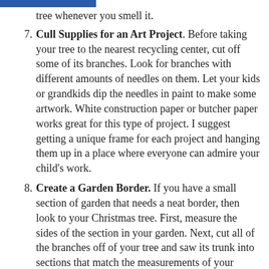tree whenever you smell it.
Cull Supplies for an Art Project. Before taking your tree to the nearest recycling center, cut off some of its branches. Look for branches with different amounts of needles on them. Let your kids or grandkids dip the needles in paint to make some artwork. White construction paper or butcher paper works great for this type of project. I suggest getting a unique frame for each project and hanging them up in a place where everyone can admire your child’s work.
Create a Garden Border. If you have a small section of garden that needs a neat border, then look to your Christmas tree. First, measure the sides of the section in your garden. Next, cut all of the branches off of your tree and saw its trunk into sections that match the measurements of your garden. Place the sections of trunk around your garden to serve as a natural border.